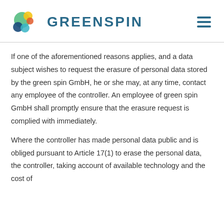GREENSPIN
If one of the aforementioned reasons applies, and a data subject wishes to request the erasure of personal data stored by the green spin GmbH, he or she may, at any time, contact any employee of the controller. An employee of green spin GmbH shall promptly ensure that the erasure request is complied with immediately.
Where the controller has made personal data public and is obliged pursuant to Article 17(1) to erase the personal data, the controller, taking account of available technology and the cost of